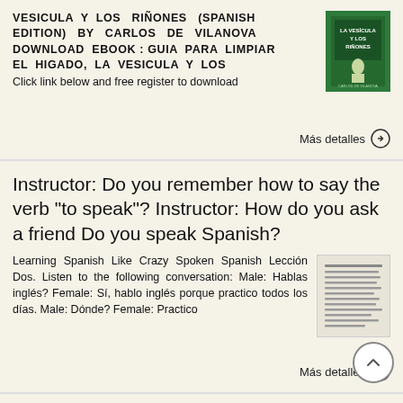VESICULA Y LOS RIÑONES (SPANISH EDITION) BY CARLOS DE VILANOVA DOWNLOAD EBOOK : GUIA PARA LIMPIAR EL HIGADO, LA VESICULA Y LOS Click link below and free register to download
Más detalles →
Instructor: Do you remember how to say the verb "to speak"? Instructor: How do you ask a friend Do you speak Spanish?
Learning Spanish Like Crazy Spoken Spanish Lección Dos. Listen to the following conversation: Male: Hablas inglés? Female: Sí, hablo inglés porque practico todos los días. Male: Dónde? Female: Practico
Más detalles →
MANUAL EASYCHAIR. A) Ingresar su